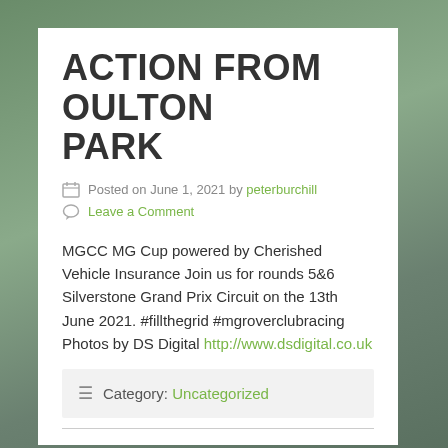ACTION FROM OULTON PARK
Posted on June 1, 2021 by peterburchill
Leave a Comment
MGCC MG Cup powered by Cherished Vehicle Insurance Join us for rounds 5&6 Silverstone Grand Prix Circuit on the 13th June 2021. #fillthegrid #mgroverclubracing Photos by DS Digital http://www.dsdigital.co.uk
Category: Uncategorized